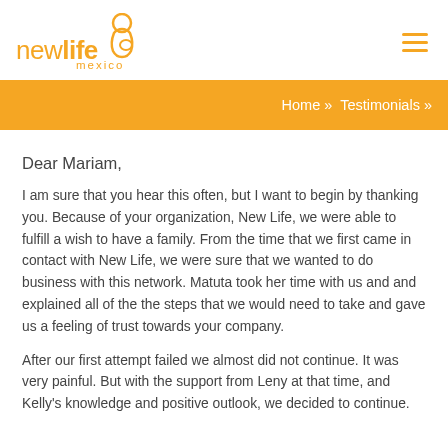[Figure (logo): New Life Mexico logo in orange with stylized pregnant figure icon]
Home » Testimonials »
Dear Mariam,
I am sure that you hear this often, but I want to begin by thanking you. Because of your organization, New Life, we were able to fulfill a wish to have a family. From the time that we first came in contact with New Life, we were sure that we wanted to do business with this network. Matuta took her time with us and and explained all of the the steps that we would need to take and gave us a feeling of trust towards your company.
After our first attempt failed we almost did not continue. It was very painful. But with the support from Leny at that time, and Kelly's knowledge and positive outlook, we decided to continue.